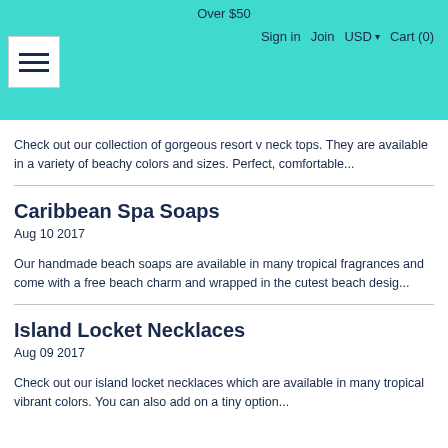Over $50 | Sign in | Join | USD | Cart (0)
Check out our collection of gorgeous resort v neck tops. They are available in a variety of beachy colors and sizes. Perfect, comfortable...
Caribbean Spa Soaps
Aug 10 2017
Our handmade beach soaps are available in many tropical fragrances and come with a free beach charm and wrapped in the cutest beach desig...
Island Locket Necklaces
Aug 09 2017
Check out our island locket necklaces which are available in many tropical vibrant colors. You can also add on a tiny option...